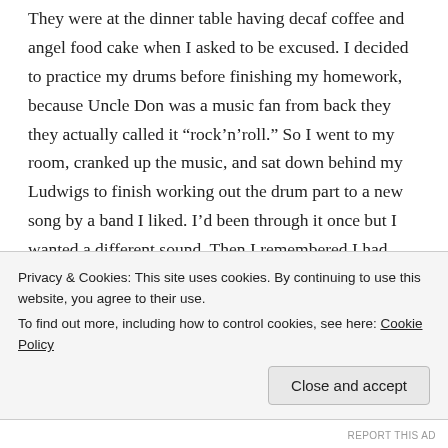They were at the dinner table having decaf coffee and angel food cake when I asked to be excused. I decided to practice my drums before finishing my homework, because Uncle Don was a music fan from back they they actually called it "rock'n'roll." So I went to my room, cranked up the music, and sat down behind my Ludwigs to finish working out the drum part to a new song by a band I liked. I'd been through it once but I wanted a different sound. Then I remembered I had some new jazz drumsticks in my backpack.
I let the band continue to wail while I headed out to the front hall to fetch them.
Privacy & Cookies: This site uses cookies. By continuing to use this website, you agree to their use.
To find out more, including how to control cookies, see here: Cookie Policy
Close and accept